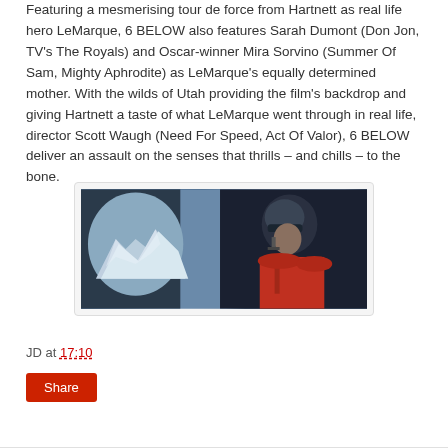Featuring a mesmerising tour de force from Hartnett as real life hero LeMarque, 6 BELOW also features Sarah Dumont (Don Jon, TV's The Royals) and Oscar-winner Mira Sorvino (Summer Of Sam, Mighty Aphrodite) as LeMarque's equally determined mother. With the wilds of Utah providing the film's backdrop and giving Hartnett a taste of what LeMarque went through in real life, director Scott Waugh (Need For Speed, Act Of Valor), 6 BELOW deliver an assault on the senses that thrills – and chills – to the bone.
[Figure (photo): A person wearing a helmet and headset looking out from what appears to be a helicopter or aircraft window, with snowy mountains visible in the background. Scene from the film 6 BELOW.]
JD at 17:10
Share